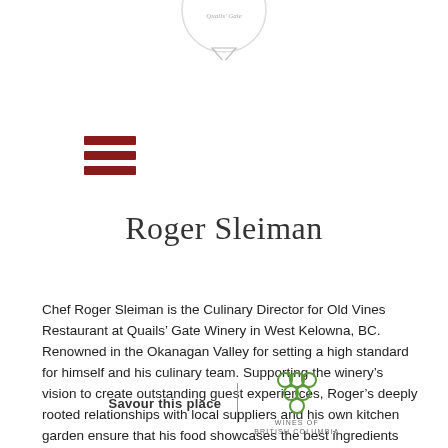[Figure (logo): Partial circular logo/seal at top center, partially cropped]
[Figure (illustration): Hamburger menu icon with three dark red horizontal bars]
Roger Sleiman
Chef Roger Sleiman is the Culinary Director for Old Vines Restaurant at Quails’ Gate Winery in West Kelowna, BC. Renowned in the Okanagan Valley for setting a high standard for himself and his culinary team. Supporting the winery’s vision to create outstanding guest experiences, Roger’s deeply rooted relationships with local suppliers and his own kitchen garden ensure that his food showcases the best ingredients BC has to offer.
[Figure (logo): BC Wines of British Columbia logo with grape cluster icon and text]
Savour this place | WINES OF BRITISH COLUMBIA